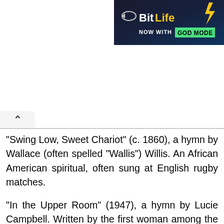[Figure (screenshot): BitLife advertisement banner with logo and 'NOW WITH GOD MODE' text on dark background]
"Swing Low, Sweet Chariot" (c. 1860), a hymn by Wallace (often spelled "Wallis") Willis. An African American spiritual, often sung at English rugby matches.
"In the Upper Room" (1947), a hymn by Lucie Campbell. Written by the first woman among the great gospel composers, this song is indelibly associated with the powerful voice of the late gospel singer Mahalia Jackson.